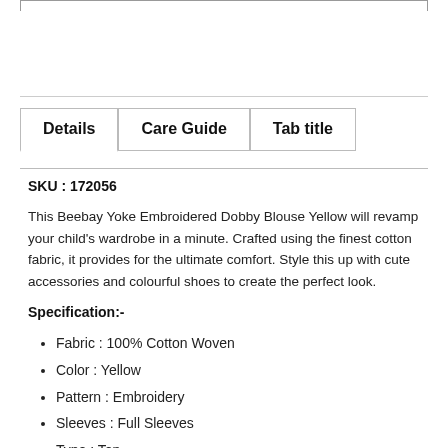Details | Care Guide | Tab title
SKU : 172056
This Beebay Yoke Embroidered Dobby Blouse Yellow will revamp your child's wardrobe in a minute. Crafted using the finest cotton fabric, it provides for the ultimate comfort. Style this up with cute accessories and colourful shoes to create the perfect look.
Specification:-
Fabric : 100% Cotton Woven
Color : Yellow
Pattern : Embroidery
Sleeves : Full Sleeves
Type : Top